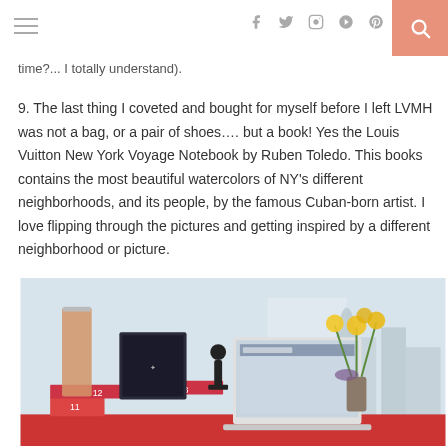≡  [social icons: f, twitter, instagram, pinterest]  [search]
time?... I totally understand).
9. The last thing I coveted and bought for myself before I left LVMH was not a bag, or a pair of shoes…. but a book! Yes the Louis Vuitton New York Voyage Notebook by Ruben Toledo. This books contains the most beautiful watercolors of NY's different neighborhoods, and its people, by the famous Cuban-born artist. I love flipping through the pictures and getting inspired by a different neighborhood or picture.
[Figure (photo): Desk scene with books stacked on a red surface (numbered 11, 12, 13), a tall glass candle holder with amber liquid, a small framed artwork, a figurine, a laptop open showing a fashion website, yellow daffodils in a vase, and a city skyline visible through a window in the background.]